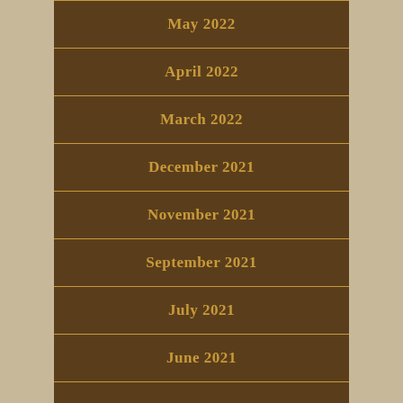May 2022
April 2022
March 2022
December 2021
November 2021
September 2021
July 2021
June 2021